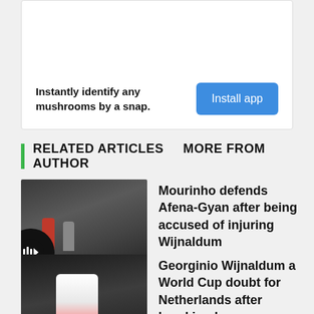[Figure (other): Advertisement box: 'Instantly identify any mushrooms by a snap.' with an 'Install app' blue button]
RELATED ARTICLES    MORE FROM AUTHOR
[Figure (photo): Thumbnail of football players on a pitch with a play button overlay]
Mourinho defends Afena-Gyan after being accused of injuring Wijnaldum
[Figure (photo): Thumbnail of Georginio Wijnaldum in white and red shirt, with Football label]
Georginio Wijnaldum a World Cup doubt for Netherlands after breaking leg